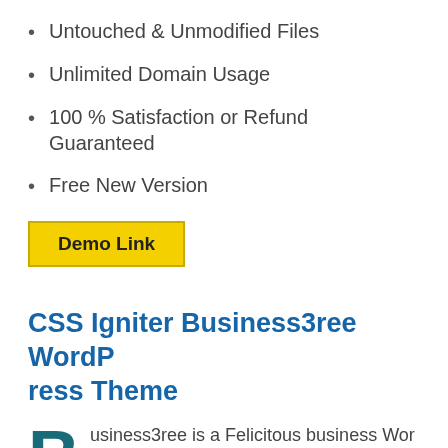Untouched & Unmodified Files
Unlimited Domain Usage
100 % Satisfaction or Refund Guaranteed
Free New Version
Demo Link
CSS Igniter Business3ree WordPress Theme
Business3ree is a Felicitous business WordPress topic beyond Cssigniter. This pre